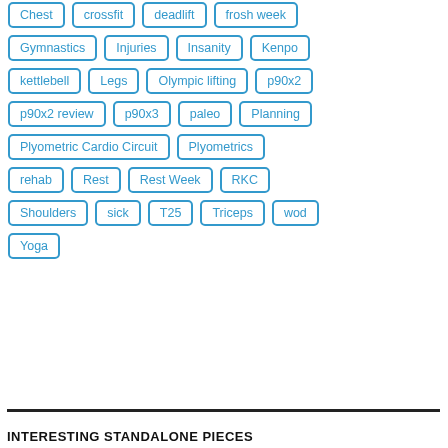Chest
crossfit
deadlift
frosh week
Gymnastics
Injuries
Insanity
Kenpo
kettlebell
Legs
Olympic lifting
p90x2
p90x2 review
p90x3
paleo
Planning
Plyometric Cardio Circuit
Plyometrics
rehab
Rest
Rest Week
RKC
Shoulders
sick
T25
Triceps
wod
Yoga
INTERESTING STANDALONE PIECES